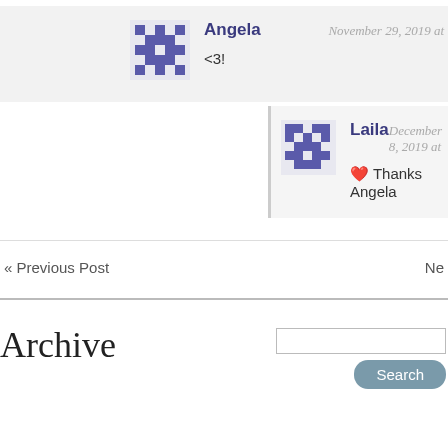Angela — November 29, 2019 at
<3!
Laila — December 8, 2019 at
❤️ Thanks Angela
« Previous Post
Ne
Archive
Search